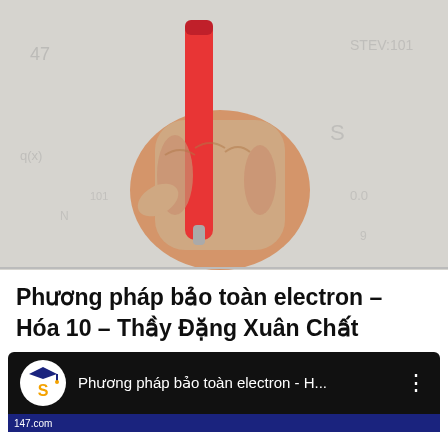[Figure (photo): A hand holding a red pen or marker, writing on a whiteboard or paper with formulas visible in the background.]
Phương pháp bảo toàn electron – Hóa 10 – Thầy Đặng Xuân Chất
[Figure (screenshot): YouTube video channel bar showing an 'S' logo icon and text 'Phương pháp bảo toàn electron - H...' with three-dot menu icon on dark background.]